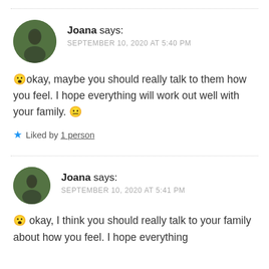Joana says: SEPTEMBER 10, 2020 AT 5:40 PM
😮okay, maybe you should really talk to them how you feel. I hope everything will work out well with your family. 😐
★ Liked by 1 person
Joana says: SEPTEMBER 10, 2020 AT 5:41 PM
😮 okay, I think you should really talk to your family about how you feel. I hope everything